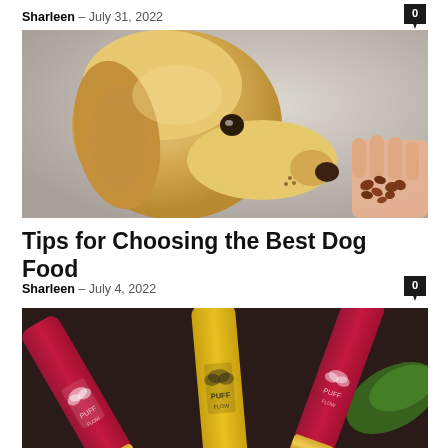Sharleen – July 31, 2022
[Figure (photo): A yellow Labrador retriever sniffing dog food kibble held in a person's outstretched hand, close-up shot with soft background.]
Tips for Choosing the Best Dog Food
Sharleen – July 4, 2022
[Figure (photo): Three colorful vape pen devices with PUFF branding laid on a dark surface alongside a green leaf; devices are pink, yellow, and pink.]